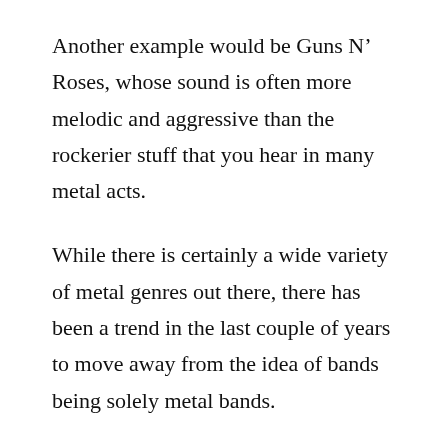Another example would be Guns N’ Roses, whose sound is often more melodic and aggressive than the rockerier stuff that you hear in many metal acts.
While there is certainly a wide variety of metal genres out there, there has been a trend in the last couple of years to move away from the idea of bands being solely metal bands.
While metal is a genre of music that is constantly evolving, it’s also important to